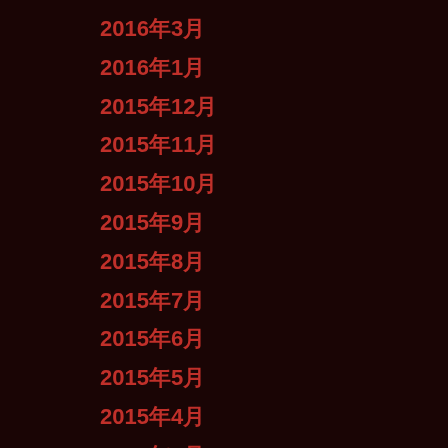2016年3月
2016年1月
2015年12月
2015年11月
2015年10月
2015年9月
2015年8月
2015年7月
2015年6月
2015年5月
2015年4月
2015年3月
2015年2月
2015年1月
2014年12月